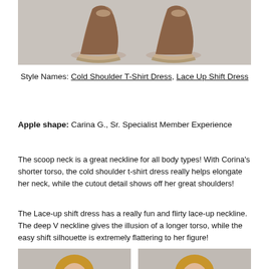[Figure (photo): Close-up photo of legs wearing wedge espadrille sandals against a light gray background, showing from the knees down]
Style Names: Cold Shoulder T-Shirt Dress, Lace Up Shift Dress
Apple shape: Carina G., Sr. Specialist Member Experience
The scoop neck is a great neckline for all body types! With Corina's shorter torso, the cold shoulder t-shirt dress really helps elongate her neck, while the cutout detail shows off her great shoulders!
The Lace-up shift dress has a really fun and flirty lace-up neckline. The deep V neckline gives the illusion of a longer torso, while the easy shift silhouette is extremely flattering to her figure!
[Figure (photo): Portrait photo of a woman with blonde hair smiling, left side]
[Figure (photo): Portrait photo of a woman with blonde hair smiling, right side]